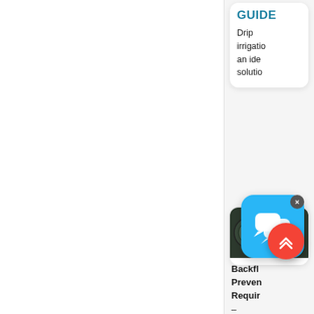GUIDE
Drip irrigation an ideal solution
[Figure (photo): Bundled dark plastic pipes/hoses for irrigation system, viewed from the end showing circular cross-sections]
Backfl Preven Requir – Gener Guidan Of
[Figure (screenshot): Blue chat widget icon with two overlapping speech bubbles, with a close (x) button in the top right corner]
[Figure (illustration): Red circular scroll-to-top button with double upward chevron arrows]